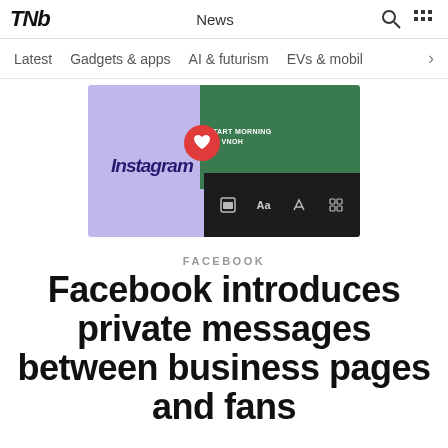TNW News
Latest | Gadgets & apps | AI & futurism | EVs & mobil
[Figure (screenshot): Screenshot showing Instagram interface with a heart button overlay and dark toolbar at bottom, green background on right side]
FACEBOOK
Facebook introduces private messages between business pages and fans